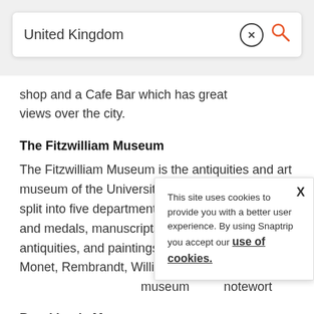United Kingdom
shop and a Cafe Bar which has great views over the city.
The Fitzwilliam Museum
The Fitzwilliam Museum is the antiquities and art museum of the University of Cambridge and is split into five departments; applied arts, coins and medals, manuscripts and printed books, antiquities, and paintings, drawings and prints. Monet, Rembrandt, William Blake and Turner ar... museum... notewort...
This site uses cookies to provide you with a better user experience. By using Snaptrip you accept our use of cookies.
Brooklands Museum
...